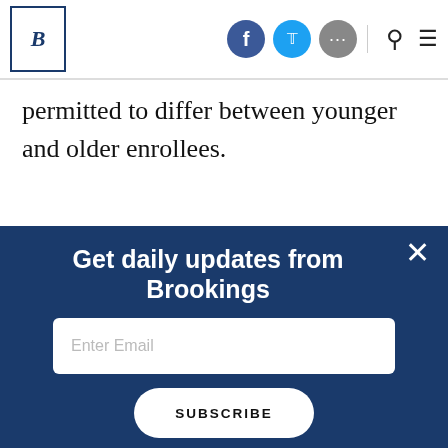Brookings Institution header with logo, social icons, search and menu
permitted to differ between younger and older enrollees.
Figure 2: Average Premiums Under Current Law and the BCRA, 2026 Panel A: Plan with an Actuarial Value of 58 Percent
[Figure (line-chart): Line chart showing average premiums under current law and BCRA 2026, with y-axis values 15,000 to 25,000 dollars. A line labeled 'Better Care Reconciliation Act' is visible rising toward the right side of the chart.]
Get daily updates from Brookings
Enter Email
SUBSCRIBE